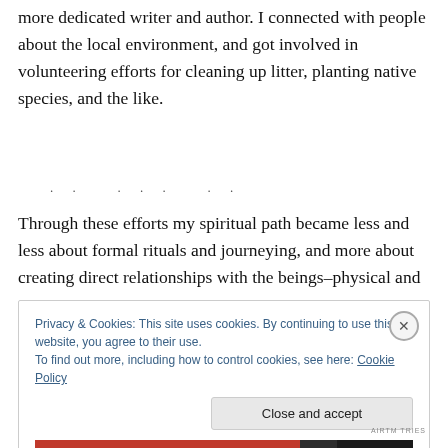more dedicated writer and author. I connected with people about the local environment, and got involved in volunteering efforts for cleaning up litter, planting native species, and the like.
Through these efforts my spiritual path became less and less about formal rituals and journeying, and more about creating direct relationships with the beings–physical and
Privacy & Cookies: This site uses cookies. By continuing to use this website, you agree to their use.
To find out more, including how to control cookies, see here: Cookie Policy